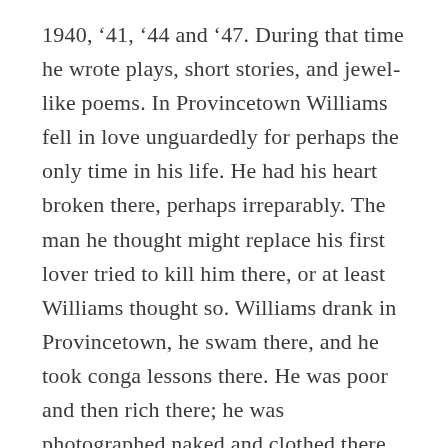1940, '41, '44 and '47. During that time he wrote plays, short stories, and jewel-like poems. In Provincetown Williams fell in love unguardedly for perhaps the only time in his life. He had his heart broken there, perhaps irreparably. The man he thought might replace his first lover tried to kill him there, or at least Williams thought so. Williams drank in Provincetown, he swam there, and he took conga lessons there. He was poor and then rich there; he was photographed naked and clothed there. He was unknown and then famous–and throughout it all Williams wrote every morning. The list of plays Williams worked on in Provincetown include The Glass Menagerie, A Streetcar Named Desire,